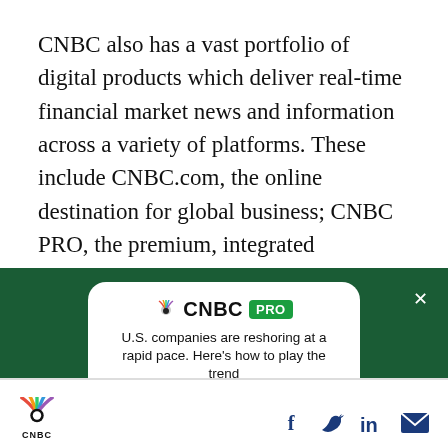CNBC also has a vast portfolio of digital products which deliver real-time financial market news and information across a variety of platforms. These include CNBC.com, the online destination for global business; CNBC PRO, the premium, integrated desktop/mobile service that provides real-time global market data and live
[Figure (screenshot): CNBC PRO subscription advertisement overlay on a dark green background. White rounded card contains CNBC PRO logo, headline 'U.S. companies are reshoring at a rapid pace. Here's how to play the trend', and a green 'SUBSCRIBE NOW' button. A close (X) button appears top right of the overlay.]
[Figure (logo): Footer bar with CNBC peacock logo on the left and social media icons (Facebook, Twitter/X, LinkedIn, Email) on the right in dark navy blue.]